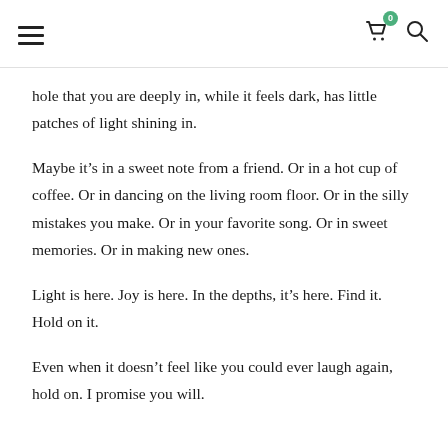Navigation header with hamburger menu, cart icon with badge (0), and search icon
hole that you are deeply in, while it feels dark, has little patches of light shining in.
Maybe it’s in a sweet note from a friend. Or in a hot cup of coffee. Or in dancing on the living room floor. Or in the silly mistakes you make. Or in your favorite song. Or in sweet memories. Or in making new ones.
Light is here. Joy is here. In the depths, it’s here. Find it. Hold on it.
Even when it doesn’t feel like you could ever laugh again, hold on. I promise you will.